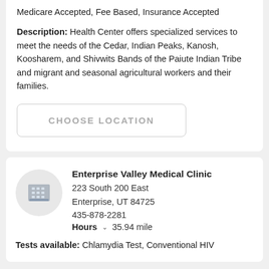Medicare Accepted, Fee Based, Insurance Accepted
Description: Health Center offers specialized services to meet the needs of the Cedar, Indian Peaks, Kanosh, Koosharem, and Shivwits Bands of the Paiute Indian Tribe and migrant and seasonal agricultural workers and their families.
CHOOSE LOCATION
Enterprise Valley Medical Clinic
223 South 200 East
Enterprise, UT 84725
435-878-2281
Hours  35.94 mile
Tests available: Chlamydia Test, Conventional HIV